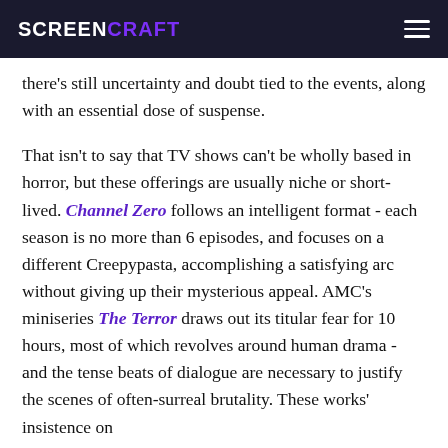SCREENCRAFT
there's still uncertainty and doubt tied to the events, along with an essential dose of suspense.
That isn't to say that TV shows can't be wholly based in horror, but these offerings are usually niche or short-lived. Channel Zero follows an intelligent format - each season is no more than 6 episodes, and focuses on a different Creepypasta, accomplishing a satisfying arc without giving up their mysterious appeal. AMC's miniseries The Terror draws out its titular fear for 10 hours, most of which revolves around human drama - and the tense beats of dialogue are necessary to justify the scenes of often-surreal brutality. These works' insistence on